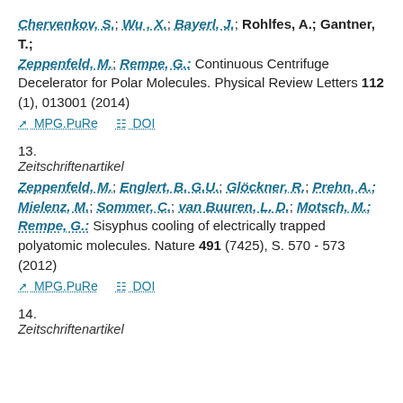Chervenkov, S.; Wu, X.; Bayerl, J.; Rohlfes, A.; Gantner, T.; Zeppenfeld, M.; Rempe, G.: Continuous Centrifuge Decelerator for Polar Molecules. Physical Review Letters 112 (1), 013001 (2014)
MPG.PuRe   DOI
13.
Zeitschriftenartikel
Zeppenfeld, M.; Englert, B. G.U.; Glöckner, R.; Prehn, A.; Mielenz, M.; Sommer, C.; van Buuren, L. D.; Motsch, M.; Rempe, G.: Sisyphus cooling of electrically trapped polyatomic molecules. Nature 491 (7425), S. 570 - 573 (2012)
MPG.PuRe   DOI
14.
Zeitschriftenartikel